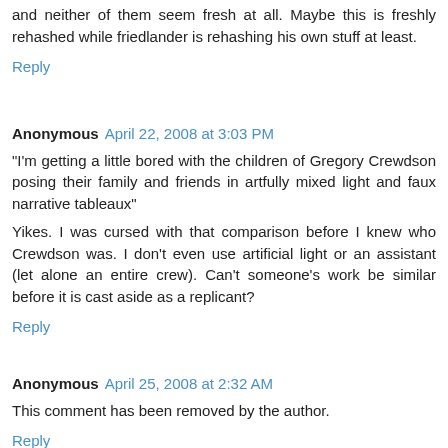and neither of them seem fresh at all. Maybe this is freshly rehashed while friedlander is rehashing his own stuff at least.
Reply
Anonymous  April 22, 2008 at 3:03 PM
"I'm getting a little bored with the children of Gregory Crewdson posing their family and friends in artfully mixed light and faux narrative tableaux"
Yikes. I was cursed with that comparison before I knew who Crewdson was. I don't even use artificial light or an assistant (let alone an entire crew). Can't someone's work be similar before it is cast aside as a replicant?
Reply
Anonymous  April 25, 2008 at 2:32 AM
This comment has been removed by the author.
Reply